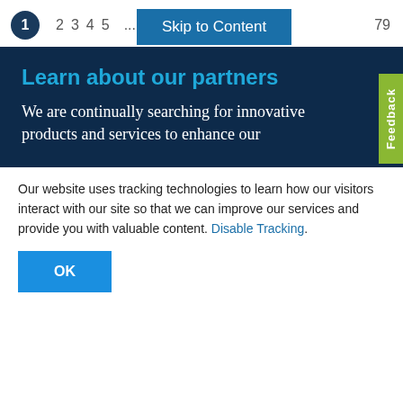1  2  3  4  5  ...  79  Skip to Content
Learn about our partners
We are continually searching for innovative products and services to enhance our
Our website uses tracking technologies to learn how our visitors interact with our site so that we can improve our services and provide you with valuable content. Disable Tracking.
OK